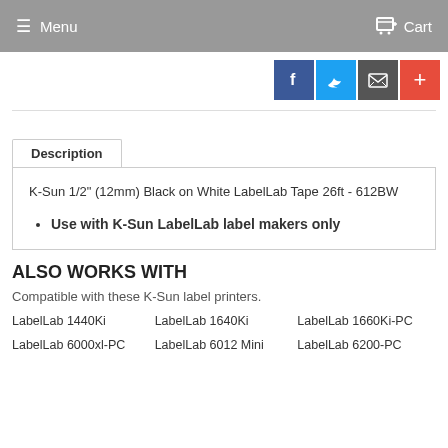Menu | Cart
[Figure (other): Social sharing icons: Facebook, Twitter, Email, Plus]
K-Sun 1/2" (12mm) Black on White LabelLab Tape 26ft - 612BW
Use with K-Sun LabelLab label makers only
ALSO WORKS WITH
Compatible with these K-Sun label printers.
LabelLab 1440Ki | LabelLab 1640Ki | LabelLab 1660Ki-PC | LabelLab 6000xl-PC | LabelLab 6012 Mini | LabelLab 6200-PC